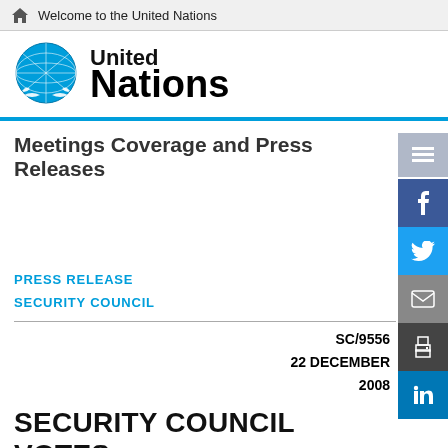Welcome to the United Nations
[Figure (logo): United Nations globe logo with text 'United Nations']
Meetings Coverage and Press Releases
PRESS RELEASE
SECURITY COUNCIL
SC/9556
22 DECEMBER
2008
SECURITY COUNCIL VOTES